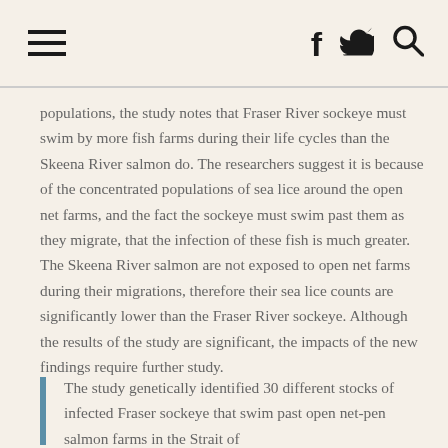☰  f  🐦  🔍
populations, the study notes that Fraser River sockeye must swim by more fish farms during their life cycles than the Skeena River salmon do. The researchers suggest it is because of the concentrated populations of sea lice around the open net farms, and the fact the sockeye must swim past them as they migrate, that the infection of these fish is much greater. The Skeena River salmon are not exposed to open net farms during their migrations, therefore their sea lice counts are significantly lower than the Fraser River sockeye. Although the results of the study are significant, the impacts of the new findings require further study.
The study genetically identified 30 different stocks of infected Fraser sockeye that swim past open net-pen salmon farms in the Strait of